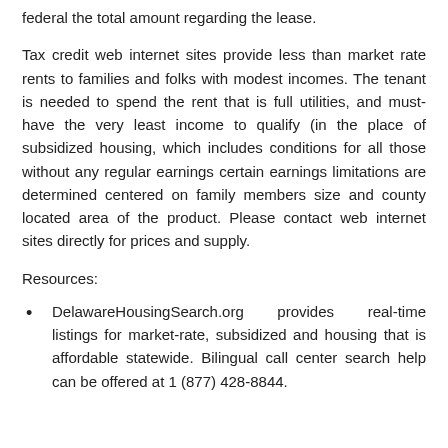federal the total amount regarding the lease.
Tax credit web internet sites provide less than market rate rents to families and folks with modest incomes. The tenant is needed to spend the rent that is full utilities, and must-have the very least income to qualify (in the place of subsidized housing, which includes conditions for all those without any regular earnings certain earnings limitations are determined centered on family members size and county located area of the product. Please contact web internet sites directly for prices and supply.
Resources:
DelawareHousingSearch.org provides real-time listings for market-rate, subsidized and housing that is affordable statewide. Bilingual call center search help can be offered at 1 (877) 428-8844.